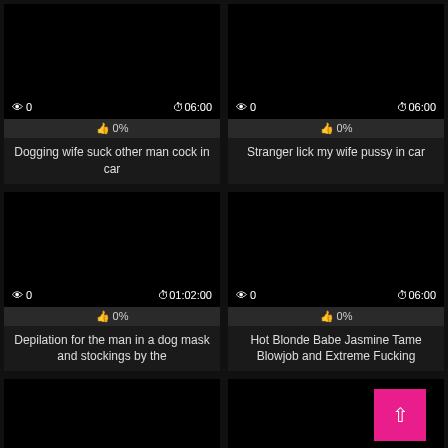[Figure (screenshot): Video thumbnail black screen with view count 0 and duration 06:00]
👍 0%
Dogging wife suck other man cock in car
[Figure (screenshot): Video thumbnail black screen with view count 0 and duration 06:00]
👍 0%
Stranger lick my wife pussy in car
[Figure (screenshot): Video thumbnail black screen with view count 0 and duration 01:02:00]
👍 0%
Depilation for the man in a dog mask and stockings by the
[Figure (screenshot): Video thumbnail black screen with view count 0 and duration 06:00]
👍 0%
Hot Blonde Babe Jasmine Tame Blowjob and Extreme Fucking
[Figure (screenshot): Video thumbnail black screen partial]
[Figure (screenshot): Video thumbnail black screen partial with back-to-top pink button]